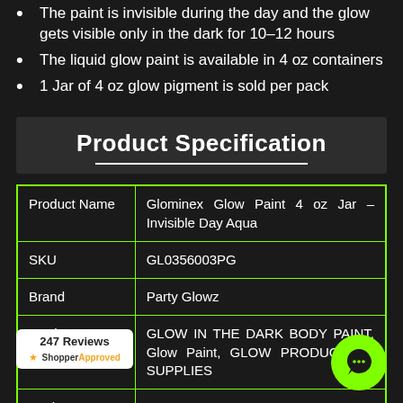The paint is invisible during the day and the glow gets visible only in the dark for 10–12 hours
The liquid glow paint is available in 4 oz containers
1 Jar of 4 oz glow pigment is sold per pack
Product Specification
|  |  |
| --- | --- |
| Product Name | Glominex Glow Paint 4 oz Jar – Invisible Day Aqua |
| SKU | GL0356003PG |
| Brand | Party Glowz |
| Product ... | GLOW IN THE DARK BODY PAINT, Glow Paint, GLOW PRODUCTS & SUPPLIES |
| Package |  |